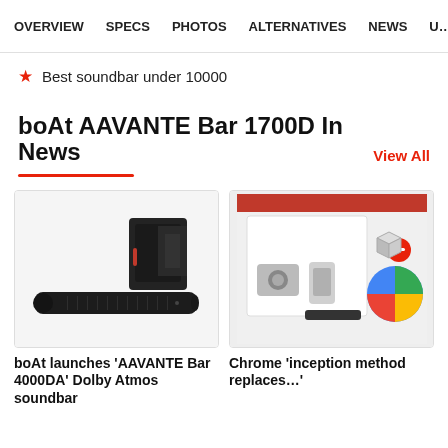OVERVIEW  SPECS  PHOTOS  ALTERNATIVES  NEWS  U…
★ Best soundbar under 10000
boAt AAVANTE Bar 1700D In News
[Figure (photo): Photo of boAt AAVANTE Bar 4000DA soundbar with subwoofer on white background]
boAt launches 'AAVANTE Bar 4000DA' Dolby Atmos soundbar
[Figure (photo): Thumbnail image related to Chrome 'inception method replaces' article with tech product imagery]
Chrome 'inception method replaces…'